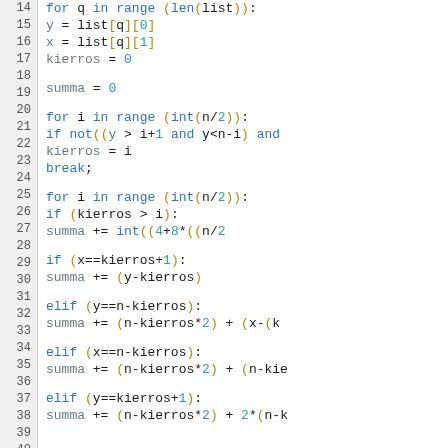[Figure (screenshot): Python source code snippet showing lines 14-42 of a program. Lines include variable assignments (y, x, kierros, summa), for loops with range and int, if/elif conditions, and summa accumulation logic. Line numbers shown on left in gray gutter.]